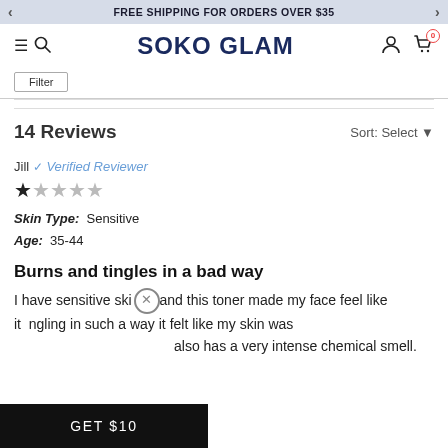FREE SHIPPING FOR ORDERS OVER $35
SOKO GLAM
14 Reviews   Sort: Select
Jill ✓ Verified Reviewer
[Figure (other): 1 out of 5 stars rating]
Skin Type: Sensitive
Age: 35-44
Burns and tingles in a bad way
I have sensitive skin and this toner made my face feel like it tingling in such a way it felt like my skin was being damaged. It also has a very intense chemical smell.